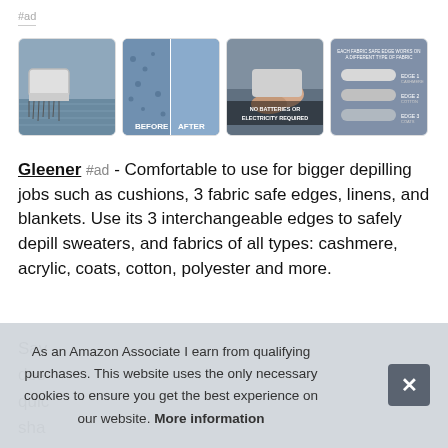#ad
[Figure (photo): Four thumbnail images of a fabric depiller/lint shaver product: (1) tool being used on carpet/fabric, (2) before and after comparison on blue fabric, (3) tool with 'no batteries or electricity required' text overlay, (4) product info graphic showing three interchangeable edges for different fabric types]
Gleener #ad - Comfortable to use for bigger depilling jobs such as cushions, 3 fabric safe edges, linens, and blankets. Use its 3 interchangeable edges to safely depill sweaters, and fabrics of all types: cashmere, acrylic, coats, cotton, polyester and more.
Sav
des
quic
sha
As an Amazon Associate I earn from qualifying purchases. This website uses the only necessary cookies to ensure you get the best experience on our website. More information